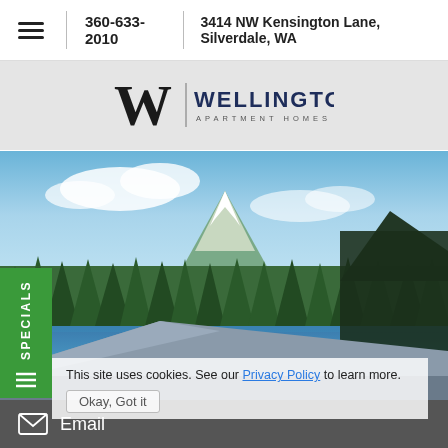360-633-2010 | 3414 NW Kensington Lane, Silverdale, WA
[Figure (logo): Wellington Apartment Homes logo with stylized W]
[Figure (photo): Scenic landscape view with snow-capped mountain, lake, evergreen forest, blue sky with clouds, and rooftop in foreground]
SPECIALS
This site uses cookies. See our Privacy Policy to learn more.
Okay, Got it
Email